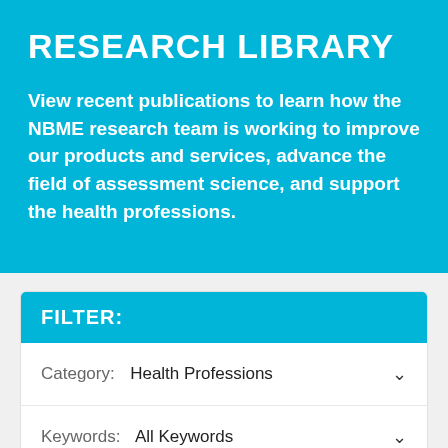RESEARCH LIBRARY
View recent publications to learn how the NBME research team is working to improve our products and services, advance the field of assessment science, and support the health professions.
FILTER:
Category:  Health Professions
Keywords:  All Keywords